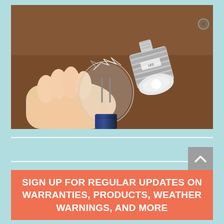[Figure (photo): A hand holding a broken incandescent light bulb next to a large LED PAR bulb with heat sink fins, both resting on a wooden surface.]
SIGN UP FOR REGULAR UPDATES ON WARRANTIES, PRODUCTS, WEATHER WARNINGS, AND MORE